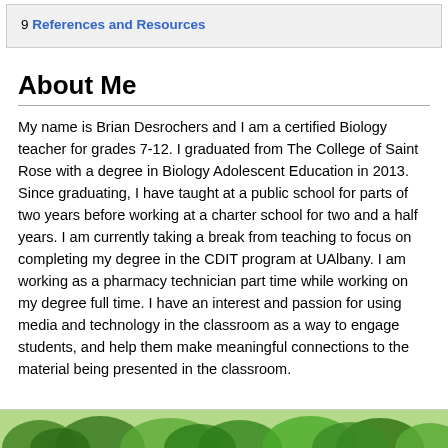9 References and Resources
About Me
My name is Brian Desrochers and I am a certified Biology teacher for grades 7-12. I graduated from The College of Saint Rose with a degree in Biology Adolescent Education in 2013. Since graduating, I have taught at a public school for parts of two years before working at a charter school for two and a half years. I am currently taking a break from teaching to focus on completing my degree in the CDIT program at UAlbany. I am working as a pharmacy technician part time while working on my degree full time. I have an interest and passion for using media and technology in the classroom as a way to engage students, and help them make meaningful connections to the material being presented in the classroom.
[Figure (photo): Partial view of green plants/foliage at the bottom of the page]